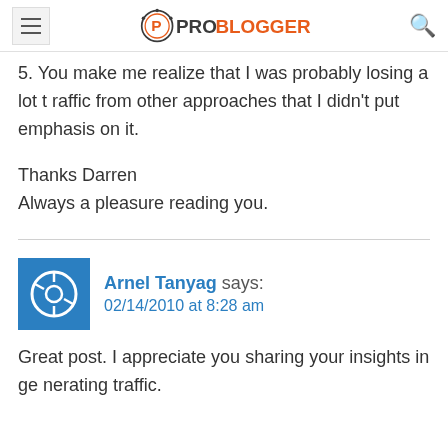ProBlogger
5. You make me realize that I was probably losing a lot traffic from other approaches that I didn't put emphasis on it.

Thanks Darren
Always a pleasure reading you.
Arnel Tanyag says:
02/14/2010 at 8:28 am
Great post. I appreciate you sharing your insights in generating traffic.